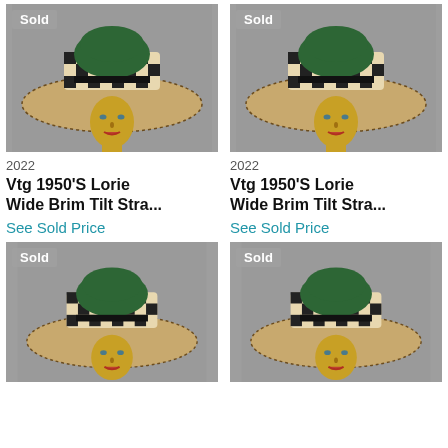[Figure (photo): Mannequin head wearing a vintage wide brim straw hat with green top and checkered pattern, gray background, 'Sold' badge top left]
2022
Vtg 1950'S Lorie Wide Brim Tilt Stra...
See Sold Price
[Figure (photo): Mannequin head wearing a vintage wide brim straw hat with green top and checkered pattern, gray background, 'Sold' badge top left]
2022
Vtg 1950'S Lorie Wide Brim Tilt Stra...
See Sold Price
[Figure (photo): Mannequin head wearing a vintage wide brim straw hat with green top and checkered pattern, gray background, 'Sold' badge top left]
[Figure (photo): Mannequin head wearing a vintage wide brim straw hat with green top and checkered pattern, gray background, 'Sold' badge top left]